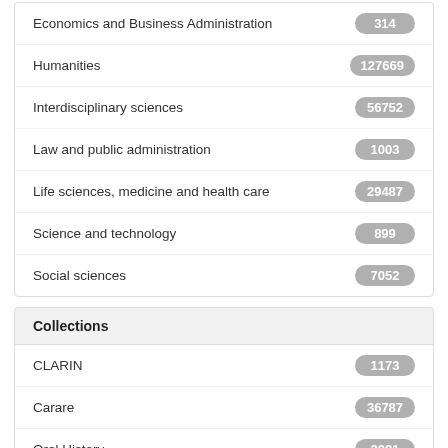Economics and Business Administration
Humanities
Interdisciplinary sciences
Law and public administration
Life sciences, medicine and health care
Science and technology
Social sciences
Collections
CLARIN
Carare
Oral History
World War II